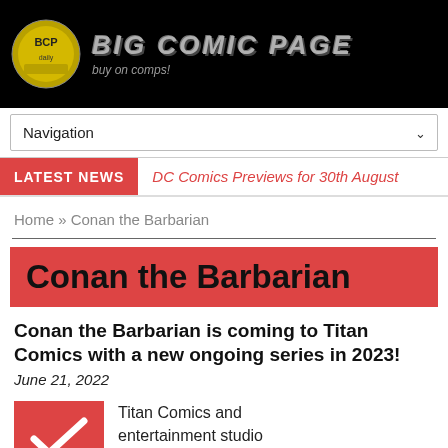BIG COMIC PAGE - buy on comps!
Navigation
LATEST NEWS  DC Comics Previews for 30th August
Home » Conan the Barbarian
Conan the Barbarian
Conan the Barbarian is coming to Titan Comics with a new ongoing series in 2023!
June 21, 2022
Titan Comics and entertainment studio